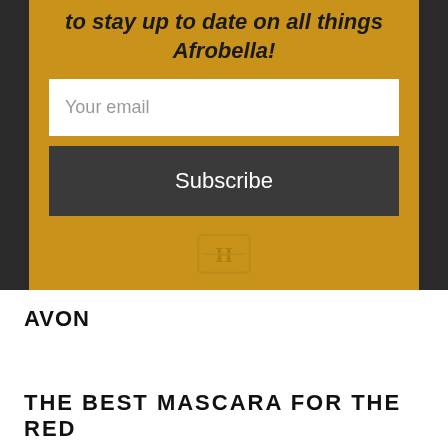[Figure (screenshot): Newsletter subscription widget on a dark background with a golden/amber colored box containing a partially visible italic bold heading 'to stay up to date on all things Afrobella!', an email input field, a Subscribe button, and a HubSpot logo icon.]
to stay up to date on all things Afrobella!
Your email
Subscribe
AVON
THE BEST MASCARA FOR THE RED